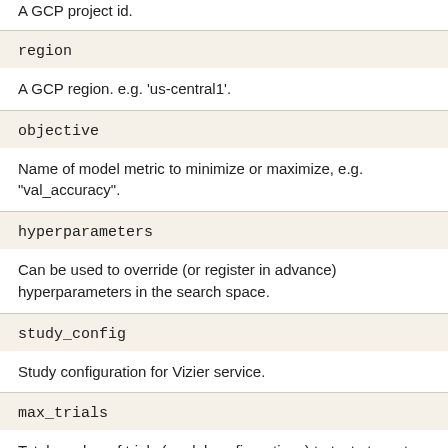A GCP project id.
region
A GCP region. e.g. 'us-central1'.
objective
Name of model metric to minimize or maximize, e.g. "val_accuracy".
hyperparameters
Can be used to override (or register in advance) hyperparameters in the search space.
study_config
Study configuration for Vizier service.
max_trials
Total number of trials (model configurations) to test at most. Note that the oracle may interrupt the search before max_trials models have been tested if the search space has been